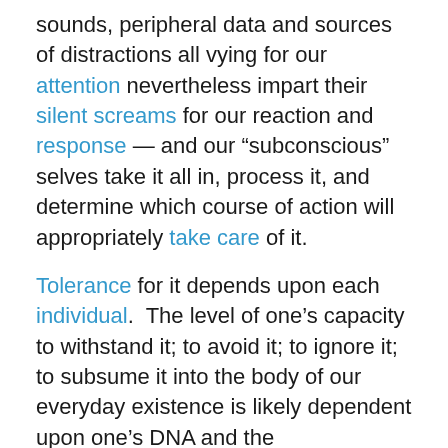sounds, peripheral data and sources of distractions all vying for our attention nevertheless impart their silent screams for our reaction and response — and our “subconscious” selves take it all in, process it, and determine which course of action will appropriately take care of it.
Tolerance for it depends upon each individual.  The level of one’s capacity to withstand it; to avoid it; to ignore it; to subsume it into the body of our everyday existence is likely dependent upon one’s DNA and the circumstances of our upbringing.  Does everyone have a “flashpoint” of breaking?  Likely.  Are some able to tolerate greater levels of stresses than others?  Yes — although, most of us think that we are that “exceptional” individual who can withstand to greater heights than others, when we are more likely no different; we just hide it better.